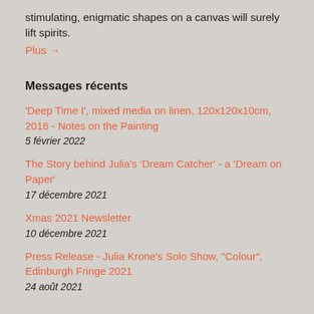stimulating, enigmatic shapes on a canvas will surely lift spirits.
Plus →
Messages récents
'Deep Time I', mixed media on linen, 120x120x10cm, 2016 - Notes on the Painting
5 février 2022
The Story behind Julia's 'Dream Catcher' - a 'Dream on Paper'
17 décembre 2021
Xmas 2021 Newsletter
10 décembre 2021
Press Release - Julia Krone's Solo Show, "Colour", Edinburgh Fringe 2021
24 août 2021